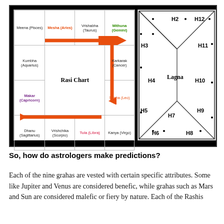[Figure (infographic): Two Vedic astrology charts side by side: left is a Rasi Chart grid showing zodiac signs (Meena/Pisces, Mesha/Aries, Vrishabha/Taurus, Mithuna/Gemini, Kumbha/Aquarius, Karkarak/Cancer, Makar/Capricorn, Simha/Leo, Dhanu/Sagittarius, Vrishchika/Scorpio, Tula/Libra, Kanya/Virgo) with orange arrows showing direction of signs. Right side shows house diagram (H2–H12 and Lagna) with diagonal lines forming a diamond/square pattern.]
So, how do astrologers make predictions?
Each of the nine grahas are vested with certain specific attributes. Some like Jupiter and Venus are considered benefic, while grahas such as Mars and Sun are considered malefic or fiery by nature. Each of the Rashis